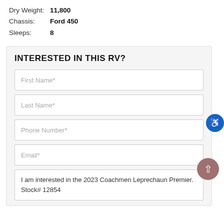Dry Weight: 11,800
Chassis: Ford 450
Sleeps: 8
INTERESTED IN THIS RV?
First Name*
Last Name*
Phone Number*
Email*
I am interested in the 2023 Coachmen Leprechaun Premier. Stock# 12854